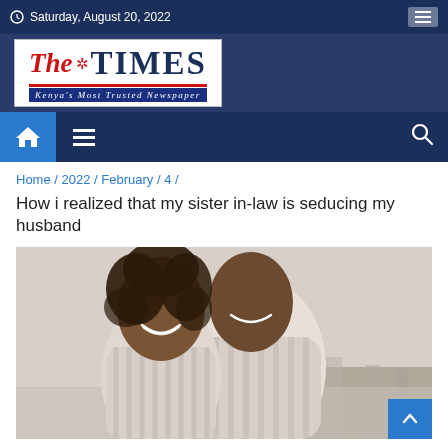Saturday, August 20, 2022
[Figure (logo): The Times newspaper logo — red italic 'The' with a star graphic, bold dark blue 'TIMES', red horizontal rule, blue banner reading Kenya's Most Trusted Newspaper]
[Figure (infographic): Navigation bar with blue home icon button, hamburger menu icon, and search magnifier icon on dark navy background]
Home / 2022 / February / 4 /
How i realized that my sister in-law is seducing my husband
[Figure (photo): A smiling couple outdoors, man behind woman, both appearing happy, with a blurred city skyline in the background. Woman has curly hair, both wearing casual striped clothing.]